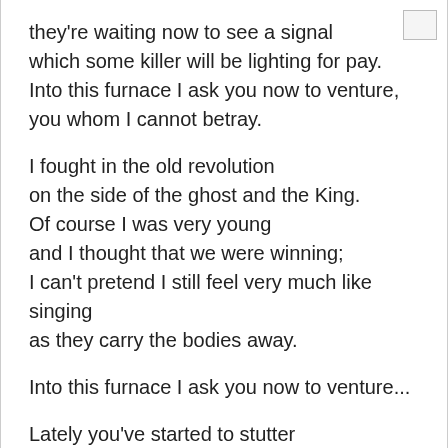they're waiting now to see a signal
which some killer will be lighting for pay.
Into this furnace I ask you now to venture,
you whom I cannot betray.
I fought in the old revolution
on the side of the ghost and the King.
Of course I was very young
and I thought that we were winning;
I can't pretend I still feel very much like singing
as they carry the bodies away.
Into this furnace I ask you now to venture...
Lately you've started to stutter
as though you had nothing to say.
To all of my architects let me be traitor.
Now let me say I myself gave the order
to sleep and to search and to destroy